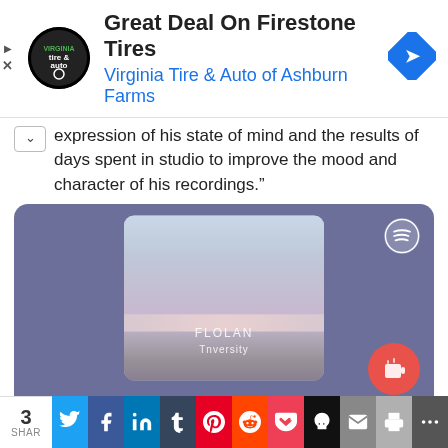[Figure (screenshot): Advertisement banner for Virginia Tire & Auto of Ashburn Farms featuring Firestone Tires deal, with circular logo on left and navigation arrow icon on right]
expression of his state of mind and the results of days spent in studio to improve the mood and character of his recordings."
[Figure (screenshot): Spotify embedded music player with purple/blue background showing album art for Flolan - Tnversity, with Spotify logo top right and coffee icon bottom right]
3 SHAR | Twitter | Facebook | LinkedIn | Tumblr | Pinterest | Reddit | Pocket | Skull | Email | Print | More